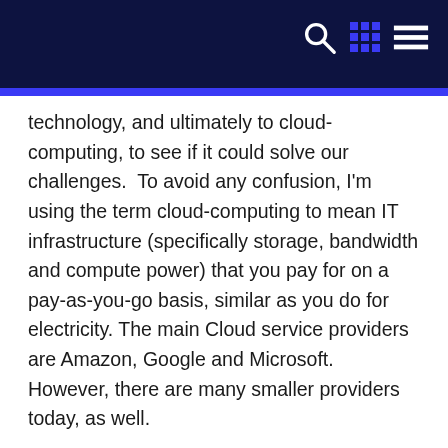technology, and ultimately to cloud-computing, to see if it could solve our challenges.  To avoid any confusion, I'm using the term cloud-computing to mean IT infrastructure (specifically storage, bandwidth and compute power) that you pay for on a pay-as-you-go basis, similar as you do for electricity. The main Cloud service providers are Amazon, Google and Microsoft. However, there are many smaller providers today, as well.
Cloud-computing can include everything from simple storage services, provided by infrastructure-as-a-service (IaaS) providers, to full blown development environments that enable companies to focus entirely on application development and leaves the IT infrastructure